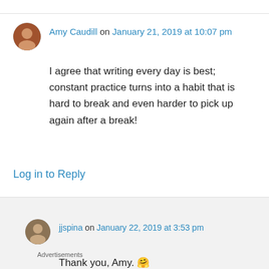Amy Caudill on January 21, 2019 at 10:07 pm
I agree that writing every day is best; constant practice turns into a habit that is hard to break and even harder to pick up again after a break!
Log in to Reply
jjspina on January 22, 2019 at 3:53 pm
Thank you, Amy. 🤗
Log in to Reply
Advertisements